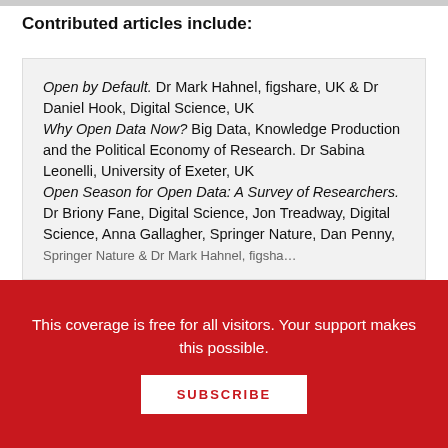Contributed articles include:
Open by Default. Dr Mark Hahnel, figshare, UK & Dr Daniel Hook, Digital Science, UK
Why Open Data Now? Big Data, Knowledge Production and the Political Economy of Research. Dr Sabina Leonelli, University of Exeter, UK
Open Season for Open Data: A Survey of Researchers. Dr Briony Fane, Digital Science, Jon Treadway, Digital Science, Anna Gallagher, Springer Nature, Dan Penny, Springer Nature & Dr Mark Hahnel, figshare
This coverage is free for all visitors. Your support makes this possible.
SUBSCRIBE